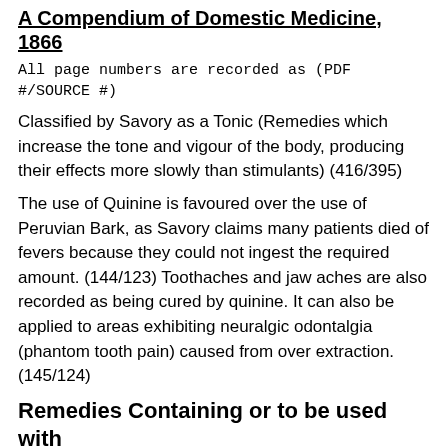A Compendium of Domestic Medicine, 1866
All page numbers are recorded as (PDF #/SOURCE #)
Classified by Savory as a Tonic (Remedies which increase the tone and vigour of the body, producing their effects more slowly than stimulants) (416/395)
The use of Quinine is favoured over the use of Peruvian Bark, as Savory claims many patients died of fevers because they could not ingest the required amount. (144/123) Toothaches and jaw aches are also recorded as being cured by quinine. It can also be applied to areas exhibiting neuralgic odontalgia (phantom tooth pain) caused from over extraction. (145/124)
Remedies Containing or to be used with
Conserve of Rose (70/49): “an excellent vehicle for exhibiting the sulphate of quinine”
Iodine (106/85): syrup of the iodide of iron and